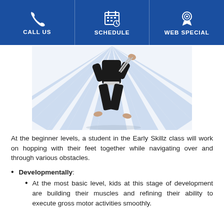CALL US   SCHEDULE   WEB SPECIAL
[Figure (illustration): A person in a black martial arts uniform (gi) with a white belt is shown mid-air jumping, with a burst/sunray pattern background in light blue and white.]
At the beginner levels, a student in the Early Skillz class will work on hopping with their feet together while navigating over and through various obstacles.
Developmentally:
At the most basic level, kids at this stage of development are building their muscles and refining their ability to execute gross motor activities smoothly.